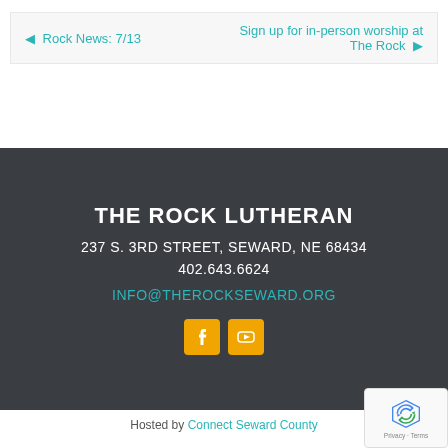◄ Rock News: 7/13
Sign up for in-person worship at The Rock ►
THE ROCK LUTHERAN
237 S. 3RD STREET, SEWARD, NE 68434
402.643.6624
INFO@THEROCKSEWARD.ORG
[Figure (logo): Facebook and YouTube social media icons in orange square buttons]
Hosted by Connect Seward County